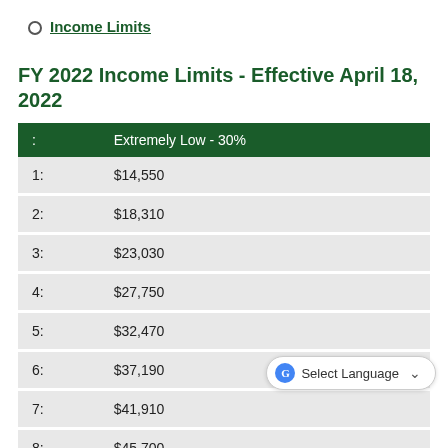Income Limits
FY 2022 Income Limits - Effective April 18, 2022
| : | Extremely Low - 30% |
| --- | --- |
| 1: | $14,550 |
| 2: | $18,310 |
| 3: | $23,030 |
| 4: | $27,750 |
| 5: | $32,470 |
| 6: | $37,190 |
| 7: | $41,910 |
| 8: | $45,700 |